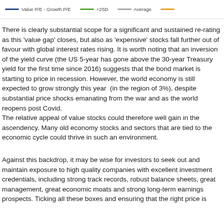[Figure (other): Chart legend strip showing: Value P/E - Growth P/E (dark blue line), +2SD (green line), Average (gray line), and a partial fourth legend item (orange line, label cut off)]
There is clearly substantial scope for a significant and sustained re-rating as this 'value gap' closes, but also as 'expensive' stocks fall further out of favour with global interest rates rising. It is worth noting that an inversion of the yield curve (the US 5-year has gone above the 30-year Treasury yield for the first time since 2016) suggests that the bond market is starting to price in recession. However, the world economy is still expected to grow strongly this year  (in the region of 3%), despite substantial price shocks emanating from the war and as the world reopens post Covid.
The relative appeal of value stocks could therefore well gain in the ascendency. Many old economy stocks and sectors that are tied to the economic cycle could thrive in such an environment.
Against this backdrop, it may be wise for investors to seek out and maintain exposure to high quality companies with excellent investment credentials, including strong track records, robust balance sheets, great management, great economic moats and strong long-term earnings prospects. Ticking all these boxes and ensuring that the right price is